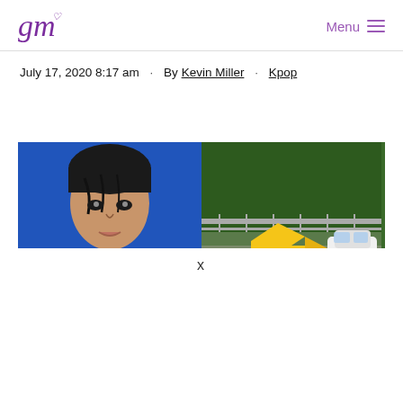gm Menu
July 17, 2020 8:17 am · By Kevin Miller · Kpop
[Figure (photo): Two-panel image: left panel shows a young Asian man against a blue background; right panel shows an outdoor scene with trees, a yellow hand-pointing emoji or sculpture, a yellow boat/kayak, and a white car parked nearby.]
x